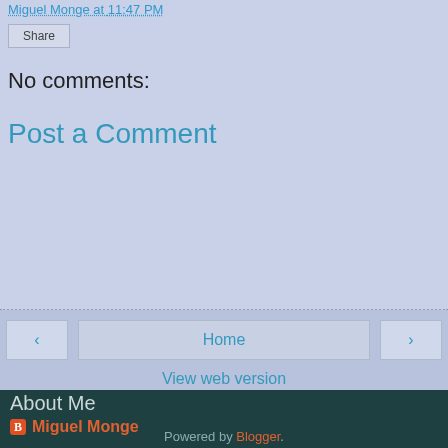Miguel Monge at 11:47 PM
Share
No comments:
Post a Comment
‹
Home
›
View web version
About Me
Miguel Monge
Welcome to the Midtowner. This is a blog all about Midtown Manhattan and of course a little North and a little South. I hope you enjoy!
View my complete profile
Powered by Blogger.